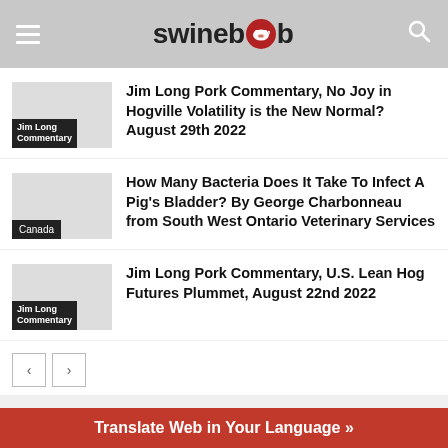swineweb
Jim Long Pork Commentary, No Joy in Hogville Volatility is the New Normal? August 29th 2022
How Many Bacteria Does It Take To Infect A Pig's Bladder? By George Charbonneau from South West Ontario Veterinary Services
Jim Long Pork Commentary, U.S. Lean Hog Futures Plummet, August 22nd 2022
Translate Web in Your Language »